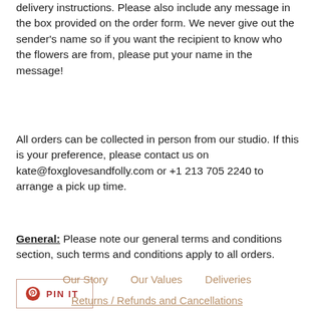delivery instructions. Please also include any message in the box provided on the order form. We never give out the sender's name so if you want the recipient to know who the flowers are from, please put your name in the message!
All orders can be collected in person from our studio. If this is your preference, please contact us on kate@foxglovesandfolly.com or +1 213 705 2240 to arrange a pick up time.
General: Please note our general terms and conditions section, such terms and conditions apply to all orders.
[Figure (other): Pinterest 'PIN IT' button with Pinterest logo icon and text 'PIN IT']
Our Story   Our Values   Deliveries
Returns / Refunds and Cancellations